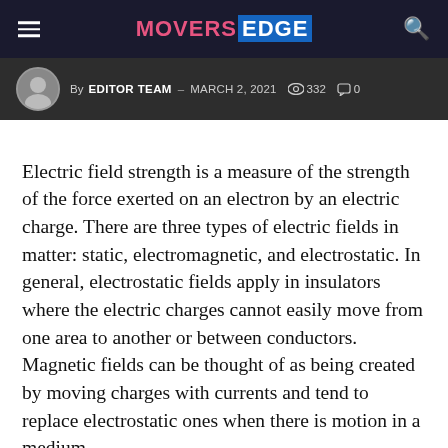MOVERS EDGE
By EDITOR TEAM – MARCH 2, 2021  332  0
Electric field strength is a measure of the strength of the force exerted on an electron by an electric charge. There are three types of electric fields in matter: static, electromagnetic, and electrostatic. In general, electrostatic fields apply in insulators where the electric charges cannot easily move from one area to another or between conductors. Magnetic fields can be thought of as being created by moving charges with currents and tend to replace electrostatic ones when there is motion in a medium.